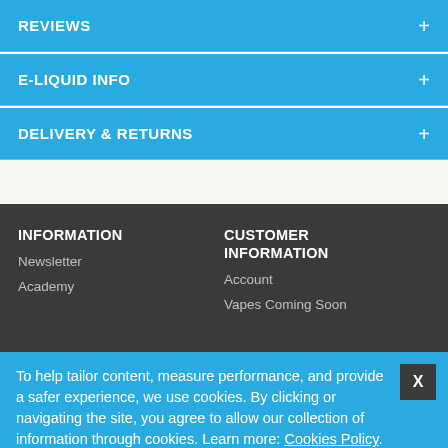REVIEWS
E-LIQUID INFO
DELIVERY & RETURNS
INFORMATION
Newsletter
Academy
CUSTOMER INFORMATION
Account
Vapes Coming Soon
To help tailor content, measure performance, and provide a safer experience, we use cookies. By clicking or navigating the site, you agree to allow our collection of information through cookies. Learn more: Cookies Policy.